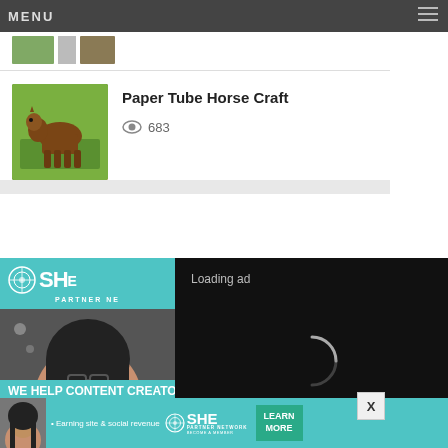MENU
[Figure (photo): Partial thumbnail of an article at top, cut off]
Paper Tube Horse Craft
683 views
[Figure (screenshot): SHE Partner Network advertisement banner with woman smiling and text 'WE HELP CONTENT CREATORS GROW BUSINESSES THROUGH...']
[Figure (screenshot): Video player overlay showing 'Loading ad' with spinner and playback controls (pause, expand, mute)]
[Figure (screenshot): Bottom advertisement strip: SHE Partner Network - 'Earning site & social revenue' with LEARN MORE button]